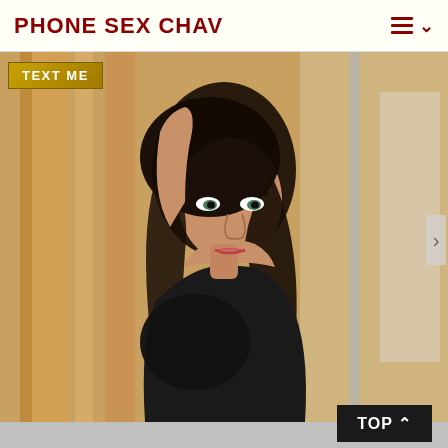PHONE SEX CHAV
[Figure (photo): A woman with dark hair in a black top posing with arm raised, with a 'TEXT ME' badge overlay in the upper left corner]
TOP ^